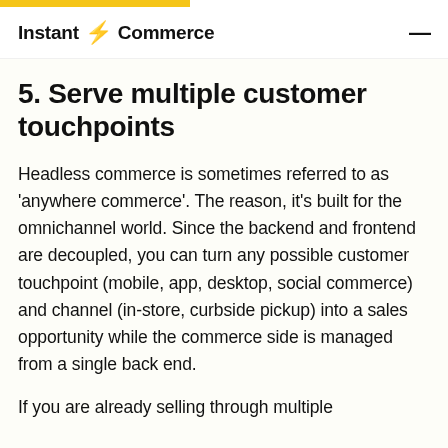Instant Commerce
5. Serve multiple customer touchpoints
Headless commerce is sometimes referred to as 'anywhere commerce'. The reason, it's built for the omnichannel world. Since the backend and frontend are decoupled, you can turn any possible customer touchpoint (mobile, app, desktop, social commerce) and channel (in-store, curbside pickup) into a sales opportunity while the commerce side is managed from a single back end.
If you are already selling through multiple channels, this becomes even more important.